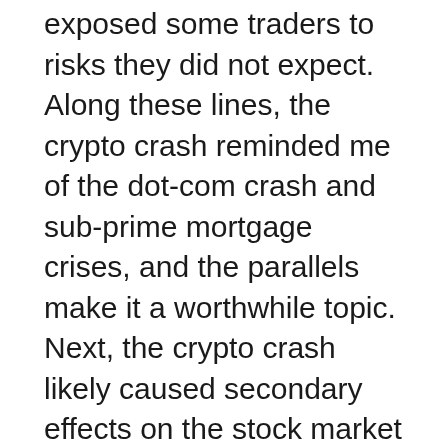exposed some traders to risks they did not expect. Along these lines, the crypto crash reminded me of the dot-com crash and sub-prime mortgage crises, and the parallels make it a worthwhile topic. Next, the crypto crash likely caused secondary effects on the stock market as investors moved money to cover losses.
However, the retail stock crash impact on stock market investors is far more severe for dividend growth investors. The drop in stock prices started with Walmart (WMT) but accelerated with abysmal results from Target (TGT).